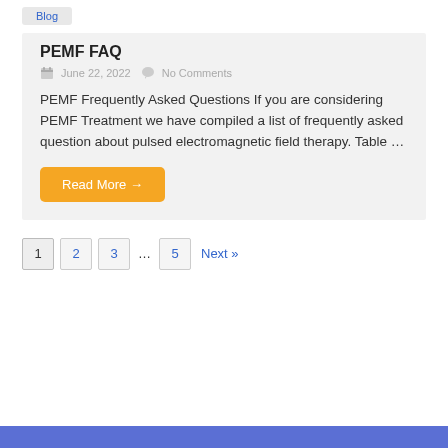Blog
PEMF FAQ
June 22, 2022   No Comments
PEMF Frequently Asked Questions If you are considering PEMF Treatment we have compiled a list of frequently asked question about pulsed electromagnetic field therapy.  Table …
Read More →
1  2  3  …  5  Next »